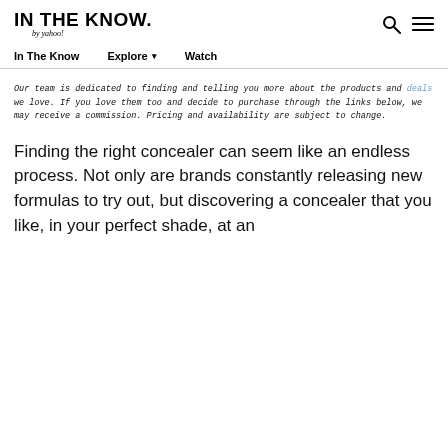IN THE KNOW. by yahoo!
In The Know   Explore ▾   Watch
Our team is dedicated to finding and telling you more about the products and deals we love. If you love them too and decide to purchase through the links below, we may receive a commission. Pricing and availability are subject to change.
Finding the right concealer can seem like an endless process. Not only are brands constantly releasing new formulas to try out, but discovering a concealer that you like, in your perfect shade, at an affordable price...